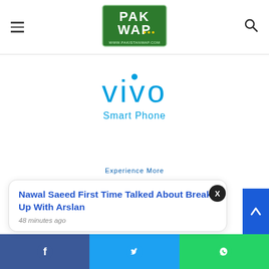[Figure (logo): PakWap website logo with green background and text WWW.PAKISTANWAP.COM]
[Figure (logo): Vivo Smart Phone brand logo in blue color]
[Figure (logo): Tecno Mobile Experience More brand logo in blue color]
Nawal Saeed First Time Talked About Break Up With Arslan
48 minutes ago